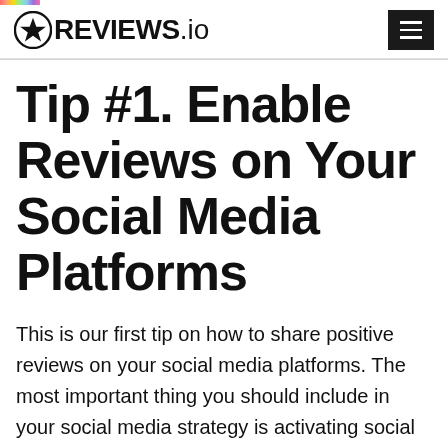REVIEWS.io
Tip #1. Enable Reviews on Your Social Media Platforms
This is our first tip on how to share positive reviews on your social media platforms. The most important thing you should include in your social media strategy is activating social media reviews.